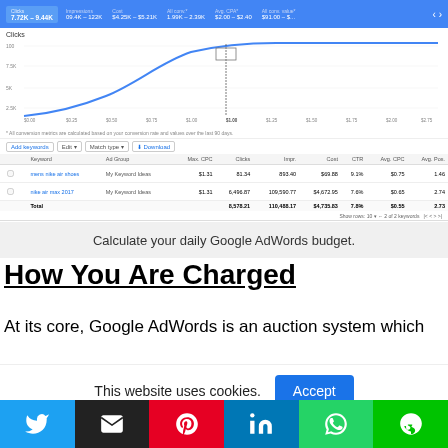[Figure (screenshot): Google AdWords keyword planner screenshot showing a clicks chart (line chart going from ~$0.00 to $2.75 CPC) and a keywords table with two keywords: 'mens nike air shoes' and 'nike air max 2017', with metrics including Max CPC $1.31, Clicks, Impr, Cost, CTR, Avg. CPC, Avg. Pos. Total row shows 8,578.21 clicks, 110,488.17 impressions, $4,735.83 cost, 7.8% CTR, $0.55 Avg. CPC, 2.73 Avg. Pos.]
Calculate your daily Google AdWords budget.
How You Are Charged
At its core, Google AdWords is an auction system which
This website uses cookies.
[Figure (infographic): Social sharing buttons row: Twitter (blue), Email (black), Pinterest (red), LinkedIn (blue), WhatsApp (green), LINE (green)]